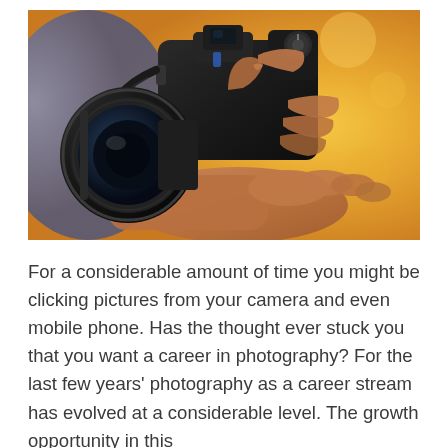[Figure (photo): Close-up photograph of a person's hands holding a DSLR camera with a large lens, adjusting the camera settings. The background is blurred with warm yellow and bokeh tones.]
For a considerable amount of time you might be clicking pictures from your camera and even mobile phone. Has the thought ever stuck you that you want a career in photography? For the last few years' photography as a career stream has evolved at a considerable level. The growth opportunity in this